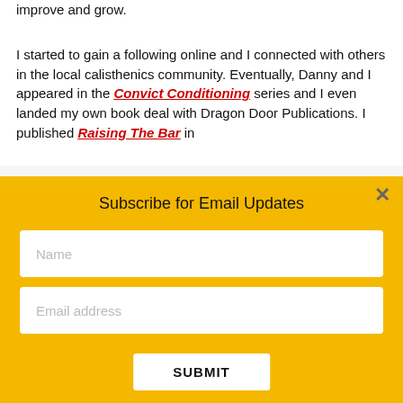improve and grow.

I started to gain a following online and I connected with others in the local calisthenics community. Eventually, Danny and I appeared in the Convict Conditioning series and I even landed my own book deal with Dragon Door Publications. I published Raising The Bar in
Subscribe for Email Updates
Name
Email address
SUBMIT